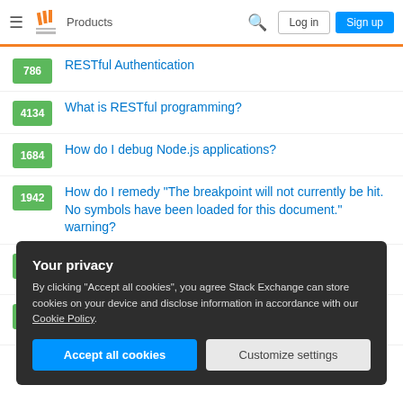≡ [Stack Overflow logo] Products 🔍 Log in Sign up
786 RESTful Authentication
4134 What is RESTful programming?
1684 How do I debug Node.js applications?
1942 How do I remedy "The breakpoint will not currently be hit. No symbols have been loaded for this document." warning?
2091 How to use java.net.URLConnection to fire and handle HTTP requests
933 Posting a File and Associated Data to a RESTful WebService preferably as JSON
Your privacy
By clicking "Accept all cookies", you agree Stack Exchange can store cookies on your device and disclose information in accordance with our Cookie Policy.
Accept all cookies   Customize settings
Is Dark Matter possible if there is dynamical friction?